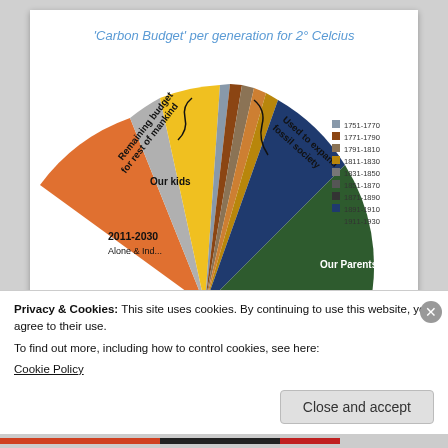[Figure (pie-chart): Fan/pie chart showing carbon budget allocation per generation for a 2 degree Celsius target. Slices labeled: 2011-2030 (orange, large), Our kids (gray), remaining budget for rest of mankind (yellow), and several slices for Used to expand fossil society (various colors: dark, medium), and Our Parents (dark green). Legend on right shows time periods 1751-1770 through 1911-1930.]
Privacy & Cookies: This site uses cookies. By continuing to use this website, you agree to their use.
To find out more, including how to control cookies, see here:
Cookie Policy